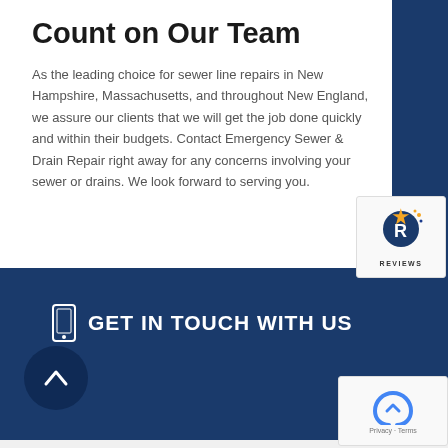Count on Our Team
As the leading choice for sewer line repairs in New Hampshire, Massachusetts, and throughout New England, we assure our clients that we will get the job done quickly and within their budgets. Contact Emergency Sewer & Drain Repair right away for any concerns involving your sewer or drains. We look forward to serving you.
[Figure (logo): Reviews badge with star icon and 'REVIEWS' label]
GET IN TOUCH WITH US
[Figure (logo): reCAPTCHA badge with Privacy and Terms links]